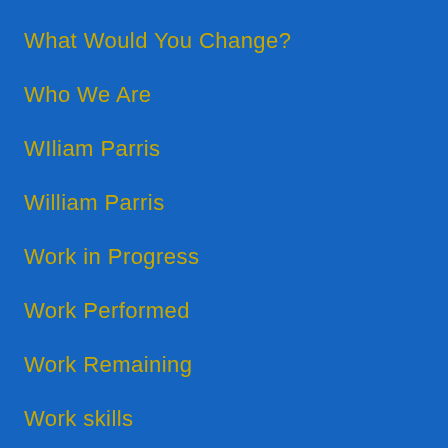What Would You Change?
Who We Are
WIliam Parris
William Parris
Work in Progress
Work Performed
Work Remaining
Work skills
Workplace Category